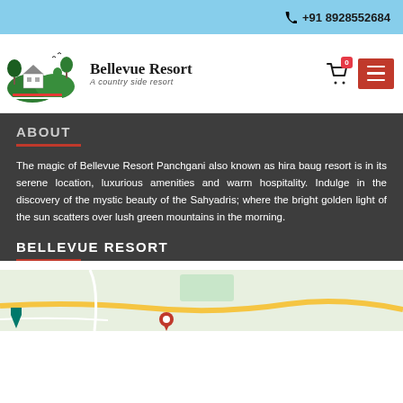+91 8928552684
[Figure (logo): Bellevue Resort logo with green cottage, trees, and tagline 'A country side resort']
The magic of Bellevue Resort Panchgani also known as hira baug resort is in its serene location, luxurious amenities and warm hospitality. Indulge in the discovery of the mystic beauty of the Sahyadris; where the bright golden light of the sun scatters over lush green mountains in the morning.
ABOUT
BELLEVUE RESORT
[Figure (map): Google Maps embed showing location of Bellevue Resort Panchgani]